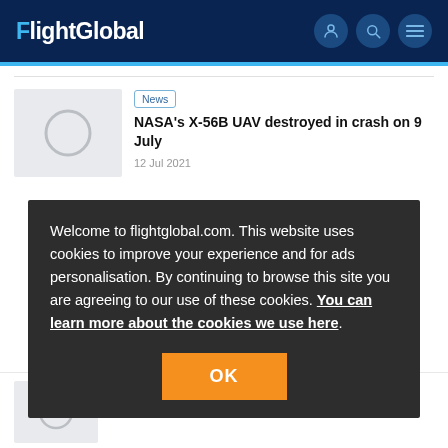FlightGlobal
News
NASA's X-56B UAV destroyed in crash on 9 July
12 Jul 2021
Welcome to flightglobal.com. This website uses cookies to improve your experience and for ads personalisation. By continuing to browse this site you are agreeing to our use of these cookies. You can learn more about the cookies we use here.
OK
News
US Air Force detonates warhead for ARRW